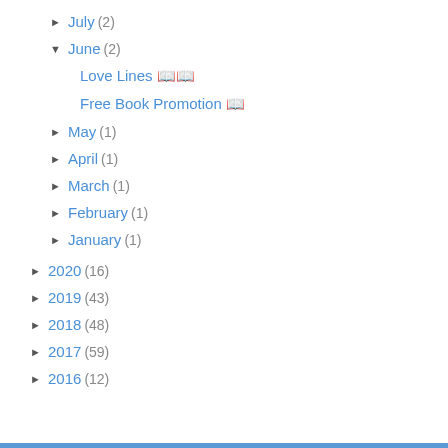► July (2)
▼ June (2)
Love Lines 📖📖
Free Book Promotion 📖
► May (1)
► April (1)
► March (1)
► February (1)
► January (1)
► 2020 (16)
► 2019 (43)
► 2018 (48)
► 2017 (59)
► 2016 (12)